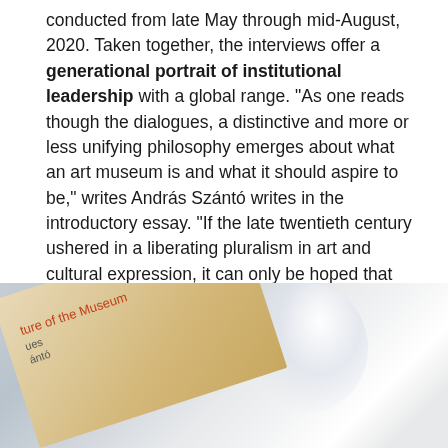conducted from late May through mid-August, 2020. Taken together, the interviews offer a generational portrait of institutional leadership with a global range. "As one reads though the dialogues, a distinctive and more or less unifying philosophy emerges about what an art museum is and what it should aspire to be," writes András Szántó writes in the introductory essay. "If the late twentieth century ushered in a liberating pluralism in art and cultural expression, it can only be hoped that the twenty-first century will do the same for the institutions of art. This sense of open possibility would be the ultimate guarantor of the enduring strength and relevance of the museum form." Buy a copy here.
[Figure (photo): A photograph of a book cover, partially visible, showing warm beige/tan coloring with orange-red text partially visible reading 'ture of the Museum' and other partially obscured text, set against a blurred light blue-grey background with a bright light reflection.]